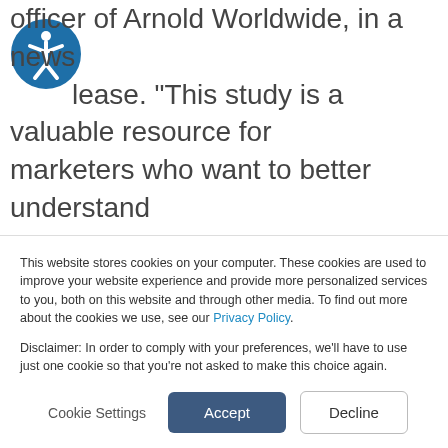officer of Arnold Worldwide, in a news release. “This study is a valuable resource for marketers who want to better understand their brand’s specific and prescriptive levers for growth relative to their competition.”

Outcomes from the research showed that the most successful brands have both a
This website stores cookies on your computer. These cookies are used to improve your website experience and provide more personalized services to you, both on this website and through other media. To find out more about the cookies we use, see our Privacy Policy.

Disclaimer: In order to comply with your preferences, we’ll have to use just one cookie so that you’re not asked to make this choice again.